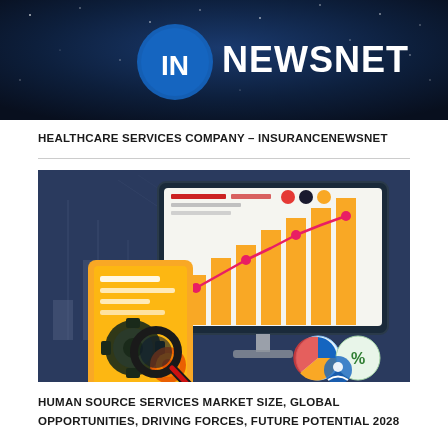[Figure (logo): InsuranceNewsNet banner with dark blue starry background, circular logo with 'IN' in white and 'NEWSNET' text in large white letters]
HEALTHCARE SERVICES COMPANY – INSURANCENEWSNET
[Figure (illustration): Market research infographic illustration showing a computer monitor with a bar chart (yellow/gold bars with a rising pink/red line), a tablet/phone device with gears and a magnifying glass, and circular icons with pie chart and percentage symbols]
HUMAN SOURCE SERVICES MARKET SIZE, GLOBAL OPPORTUNITIES, DRIVING FORCES, FUTURE POTENTIAL 2028